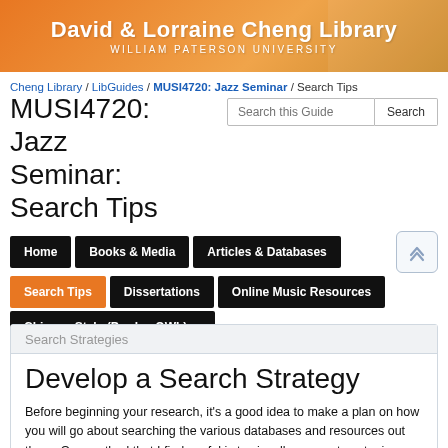David & Lorraine Cheng Library
WILLIAM PATERSON UNIVERSITY
Cheng Library / LibGuides / MUSI4720: Jazz Seminar / Search Tips
MUSI4720: Jazz Seminar: Search Tips
Search this Guide [Search button]
Home | Books & Media | Articles & Databases | Search Tips | Dissertations | Online Music Resources | Chicago Style (Purdue OWL)
Search Strategies
Develop a Search Strategy
Before beginning your research, it's a good idea to make a plan on how you will go about searching the various databases and resources out there.  One method that I find useful is to visually map out my topic, starting with the major idea, and brainstorming about related issues and